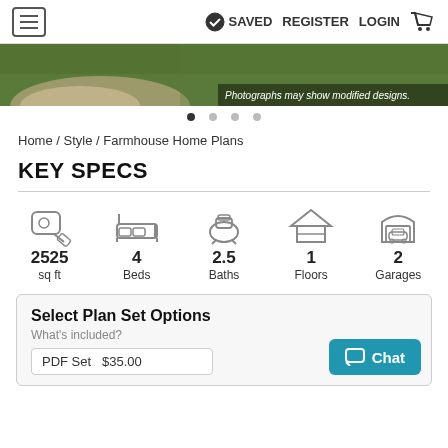☰  ✓ SAVED  REGISTER  LOGIN  🛒
[Figure (photo): Aerial/overhead view of a farmhouse with green lawn and gravel path, with caption 'Photographs may show modified designs.']
Home / Style / Farmhouse Home Plans
KEY SPECS
[Figure (infographic): Key specs icons and values: 2525 sq ft, 4 Beds, 2.5 Baths, 1 Floors, 2 Garages]
Select Plan Set Options
What's included?
PDF Set  $35.00